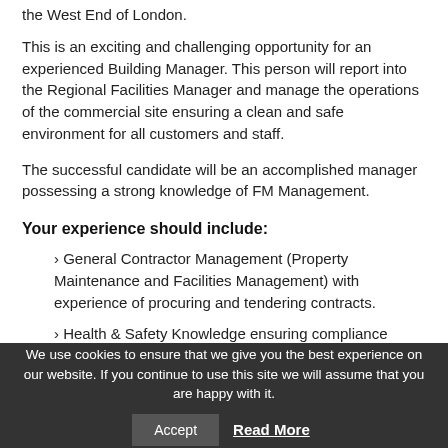the West End of London.
This is an exciting and challenging opportunity for an experienced Building Manager. This person will report into the Regional Facilities Manager and manage the operations of the commercial site ensuring a clean and safe environment for all customers and staff.
The successful candidate will be an accomplished manager possessing a strong knowledge of FM Management.
Your experience should include:
› General Contractor Management (Property Maintenance and Facilities Management) with experience of procuring and tendering contracts.
› Health & Safety Knowledge ensuring compliance (NEBOSH or IOSH qualification).
We use cookies to ensure that we give you the best experience on our website. If you continue to use this site we will assume that you are happy with it.